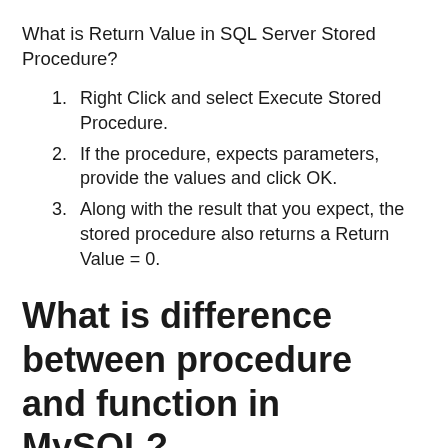What is Return Value in SQL Server Stored Procedure?
Right Click and select Execute Stored Procedure.
If the procedure, expects parameters, provide the values and click OK.
Along with the result that you expect, the stored procedure also returns a Return Value = 0.
What is difference between procedure and function in MySQL?
A procedure does not return a value. Instead, it is invoked with a CALL statement to